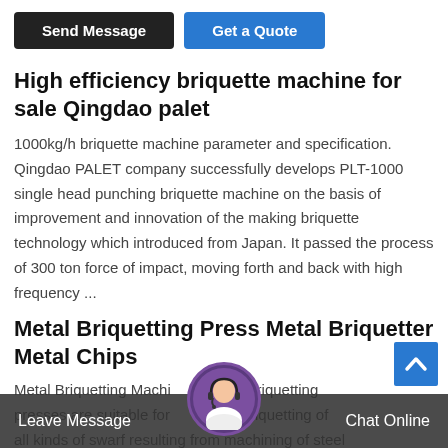[Figure (screenshot): Two UI buttons: 'Send Message' (dark/black) and 'Get a Quote' (blue)]
High efficiency briquette machine for sale Qingdao palet
1000kg/h briquette machine parameter and specification. Qingdao PALET company successfully develops PLT-1000 single head punching briquette machine on the basis of improvement and innovation of the making briquette technology which introduced from Japan. It passed the process of 300 ton force of impact, moving forth and back with high frequency ...
Metal Briquetting Press Metal Briquetter Metal Chips
Metal Briquetting Machi series briquetting presses are suitable for and/or briquetting of all kinds of swarf resulting from machining of steel
Leave Message   Chat Online